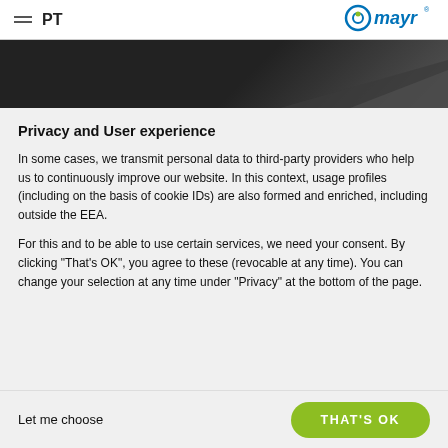PT
[Figure (logo): Mayr logo with blue circle and green dot, brand name 'mayr' in blue italic, registered trademark symbol]
[Figure (photo): Dark gradient banner with geometric shapes]
Privacy and User experience
In some cases, we transmit personal data to third-party providers who help us to continuously improve our website. In this context, usage profiles (including on the basis of cookie IDs) are also formed and enriched, including outside the EEA.
For this and to be able to use certain services, we need your consent. By clicking "That's OK", you agree to these (revocable at any time). You can change your selection at any time under "Privacy" at the bottom of the page.
Let me choose
THAT'S OK